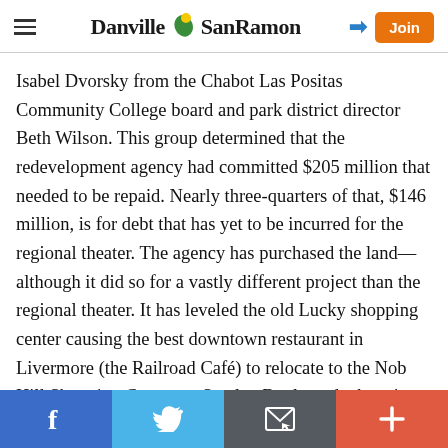Danville SanRamon
Isabel Dvorsky from the Chabot Las Positas Community College board and park district director Beth Wilson. This group determined that the redevelopment agency had committed $205 million that needed to be repaid. Nearly three-quarters of that, $146 million, is for debt that has yet to be incurred for the regional theater. The agency has purchased the land—although it did so for a vastly different project than the regional theater. It has leveled the old Lucky shopping center causing the best downtown restaurant in Livermore (the Railroad Café) to relocate to the Nob Hill Shopping Center on Stanley Boulevard where its business continues to thrive—quality will do that.
Facebook | Twitter | Email | More